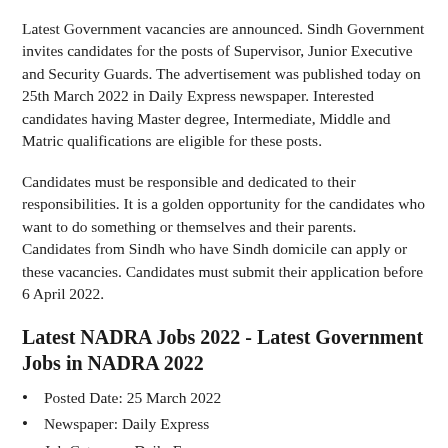Latest Government vacancies are announced. Sindh Government invites candidates for the posts of Supervisor, Junior Executive and Security Guards. The advertisement was published today on 25th March 2022 in Daily Express newspaper. Interested candidates having Master degree, Intermediate, Middle and Matric qualifications are eligible for these posts.
Candidates must be responsible and dedicated to their responsibilities. It is a golden opportunity for the candidates who want to do something or themselves and their parents. Candidates from Sindh who have Sindh domicile can apply or these vacancies. Candidates must submit their application before 6 April 2022.
Latest NADRA Jobs 2022 - Latest Government Jobs in NADRA 2022
Posted Date: 25 March 2022
Newspaper: Daily Express
Job Category: Daily Express
Job Type: Contract